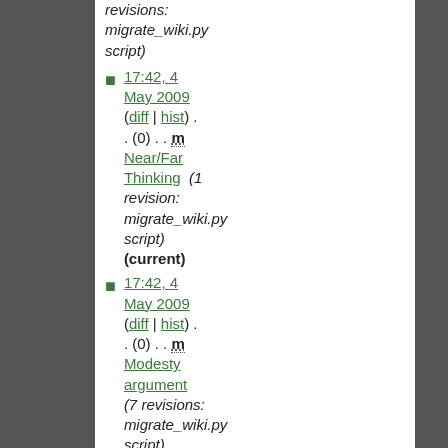revisions: migrate_wiki.py script)
17:42, 4 May 2009 (diff | hist) . . (0) . . m Near/Far Thinking (1 revision: migrate_wiki.py script) (current)
17:42, 4 May 2009 (diff | hist) . . (0) . . m Modesty argument (7 revisions: migrate_wiki.py script)
17:42, 4 May 2009